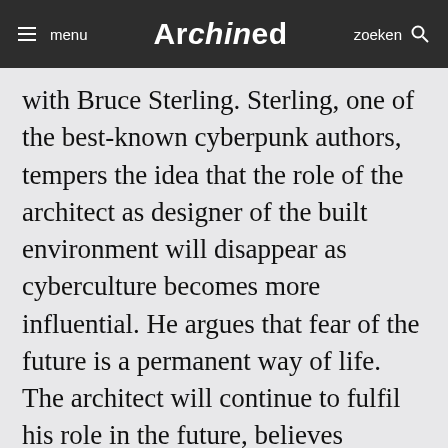menu | Archined | zoeken
with Bruce Sterling. Sterling, one of the best-known cyberpunk authors, tempers the idea that the role of the architect as designer of the built environment will disappear as cyberculture becomes more influential. He argues that fear of the future is a permanent way of life. The architect will continue to fulfil his role in the future, believes Sterling. But he has in mind heavyweights like Gehry and Sir Norman Foster, whose buildings already form the decor for cyberfiction films. The most interesting view posited by Sterling concerns